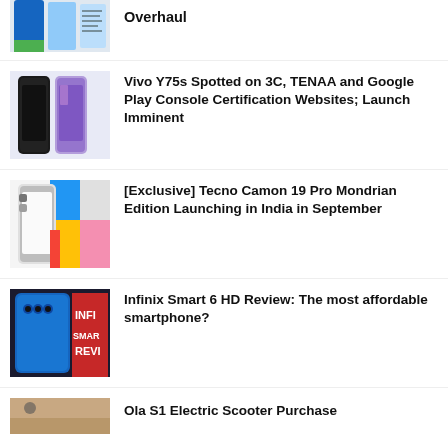Overhaul
Vivo Y75s Spotted on 3C, TENAA and Google Play Console Certification Websites; Launch Imminent
[Exclusive] Tecno Camon 19 Pro Mondrian Edition Launching in India in September
Infinix Smart 6 HD Review: The most affordable smartphone?
Ola S1 Electric Scooter Purchase